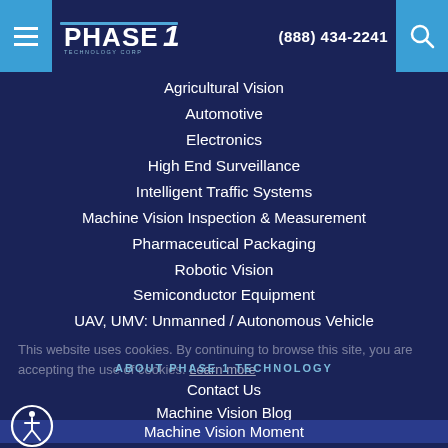Phase 1 Technology Corp | (888) 434-2241
Agricultural Vision
Automotive
Electronics
High End Surveillance
Intelligent Traffic Systems
Machine Vision Inspection & Measurement
Pharmaceutical Packaging
Robotic Vision
Semiconductor Equipment
UAV, UMV: Unmanned / Autonomous Vehicle
This website uses cookies. By continuing to browse this site, you are accepting the use of cookies. Learn more
ABOUT PHASE 1 TECHNOLOGY
Contact Us
Machine Vision Blog
Machine Vision Moment
SIGNUP FOR EMAILS
TERMS & CONDITIONS